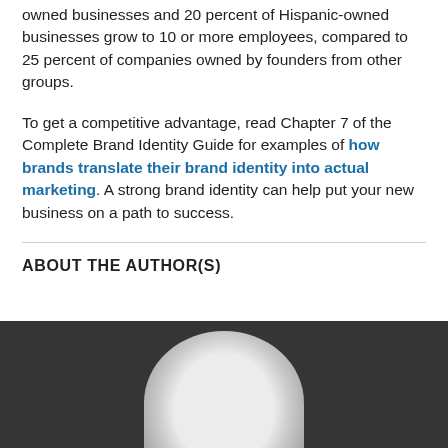owned businesses and 20 percent of Hispanic-owned businesses grow to 10 or more employees, compared to 25 percent of companies owned by founders from other groups.
To get a competitive advantage, read Chapter 7 of the Complete Brand Identity Guide for examples of how brands translate their brand identity into actual marketing. A strong brand identity can help put your new business on a path to success.
ABOUT THE AUTHOR(S)
[Figure (photo): Author headshot photo, partially visible — top of a bald head against a dark background]